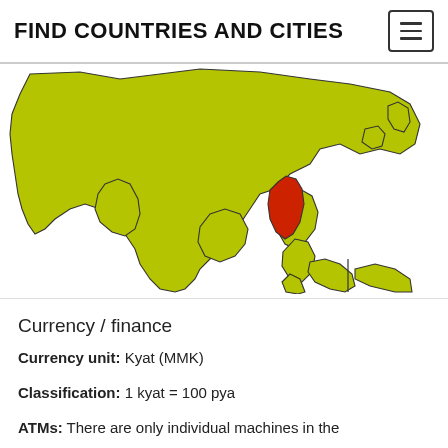FIND COUNTRIES AND CITIES
[Figure (map): Map of Asia with Myanmar highlighted in red, surrounding countries in yellow-green (olive), on white background.]
Currency / finance
Currency unit: Kyat (MMK)
Classification: 1 kyat = 100 pya
ATMs: There are only individual machines in the